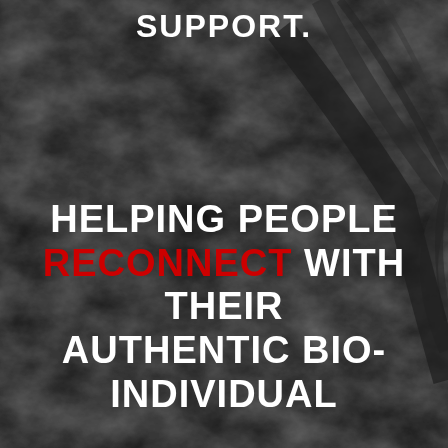SUPPORT.
HELPING PEOPLE RECONNECT WITH THEIR AUTHENTIC BIO-INDIVIDUAL NEEDS.